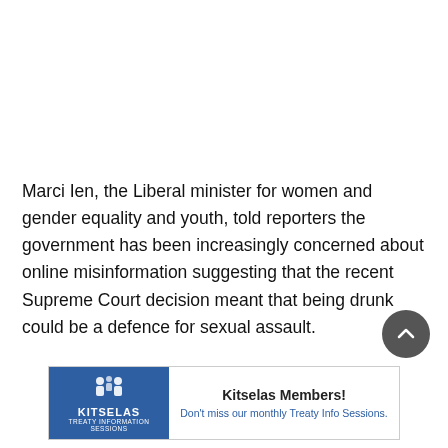Marci Ien, the Liberal minister for women and gender equality and youth, told reporters the government has been increasingly concerned about online misinformation suggesting that the recent Supreme Court decision meant that being drunk could be a defence for sexual assault.
[Figure (other): Kitselas Treaty Information Sessions advertisement banner with logo on the left and text on the right]